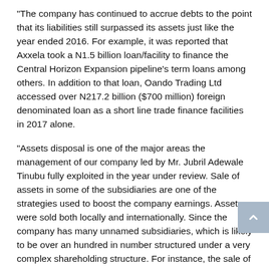“The company has continued to accrue debts to the point that its liabilities still surpassed its assets just like the year ended 2016. For example, it was reported that Axxela took a N1.5 billion loan/facility to finance the Central Horizon Expansion pipeline’s term loans among others. In addition to that loan, Oando Trading Ltd accessed over N217.2 billion ($700 million) foreign denominated loan as a short line trade finance facilities in 2017 alone.
“Assets disposal is one of the major areas the management of our company led by Mr. Jubril Adewale Tinubu fully exploited in the year under review. Sale of assets in some of the subsidiaries are one of the strategies used to boost the company earnings. Assets were sold both locally and internationally. Since the company has many unnamed subsidiaries, which is likely to be over an hundred in number structured under a very complex shareholding structure. For instance, the sale of interests in OMLS 125 and 134 to the operations for cash proceeds of N1.7 billion ($5.5 million) and the assumptions of